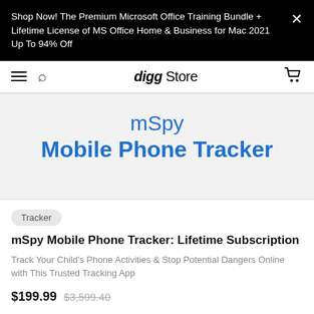Shop Now! The Premium Microsoft Office Training Bundle + Lifetime License of MS Office Home & Business for Mac 2021 Up To 94% Off
[Figure (screenshot): Digg Store navigation bar with hamburger menu, search icon, digg Store logo, and cart icon]
mSpy Mobile Phone Tracker
Tracker
mSpy Mobile Phone Tracker: Lifetime Subscription
Track Your Child's Phone Activities & Stop Potential Dangers Online with This Trusted Tracking App
$199.99  $3,599.40
★★★★★  1 Review